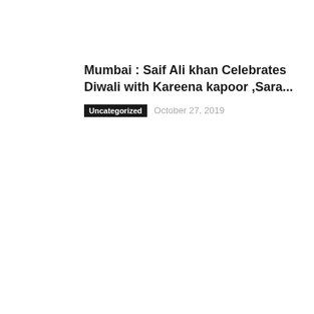Mumbai : Saif Ali khan Celebrates Diwali with Kareena kapoor ,Sara...
Uncategorized   October 27, 2019